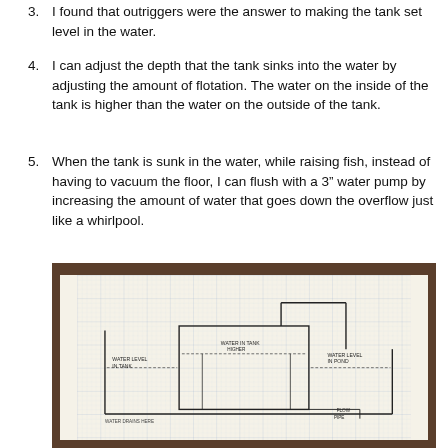3. I found that outriggers were the answer to making the tank set level in the water.
4. I can adjust the depth that the tank sinks into the water by adjusting the amount of flotation. The water on the inside of the tank is higher than the water on the outside of the tank.
5. When the tank is sunk in the water, while raising fish, instead of having to vacuum the floor, I can flush with a 3” water pump by increasing the amount of water that goes down the overflow just like a whirlpool.
[Figure (photo): A hand-drawn schematic on graph paper showing a cross-section of a tank with water levels labeled inside and outside the tank, with annotations including 'WATER LEVEL IN TANK', 'WATER OUTSIDE IN POND', 'WATER DRAINS HERE', and other handwritten labels. The paper is photographed on a wooden surface.]